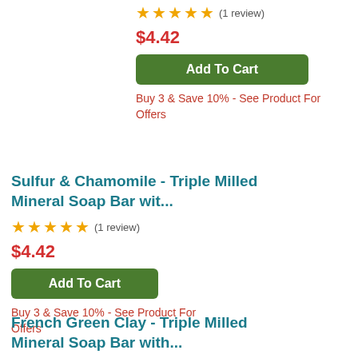★★★★★ (1 review)
$4.42
Add To Cart
Buy 3 & Save 10% - See Product For Offers
Sulfur & Chamomile - Triple Milled Mineral Soap Bar wit...
★★★★★ (1 review)
$4.42
Add To Cart
Buy 3 & Save 10% - See Product For Offers
French Green Clay - Triple Milled Mineral Soap Bar with...